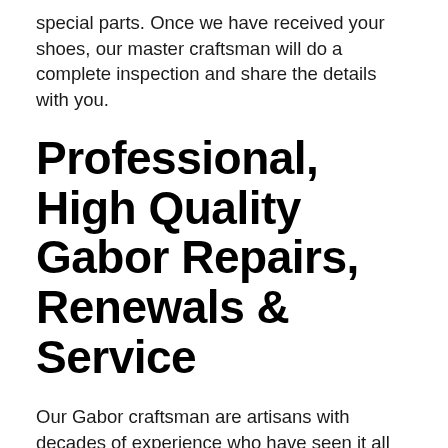special parts. Once we have received your shoes, our master craftsman will do a complete inspection and share the details with you.
Professional, High Quality Gabor Repairs, Renewals & Service
Our Gabor craftsman are artisans with decades of experience who have seen it all and can handle any repair or refurbishment your shoes need. We use manufacturer quality materials or better – plus top quality